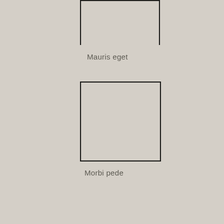[Figure (other): A rectangle outline (tall, portrait) partially cropped at the top of the page, with beige/tan fill matching the background, with a dark border]
Mauris eget
[Figure (other): A square outline with beige/tan fill matching the background, with a dark border]
Morbi pede